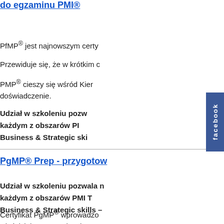do egzaminu PMI®
PfMP® jest najnowszym certy
Przewiduje się, że w krótkim c
PMP® cieszy się wśród Kier... doświadczenie.
Udział w szkoleniu pozw każdym z obszarów PI Business & Strategic ski
PgMP® Prep - przygotow
Udział w szkoleniu pozwala n każdym z obszarów PMI T Business & Strategic skills –
Certyfikat PgMP® wprowadzo właściciela w zarządzaniu pro